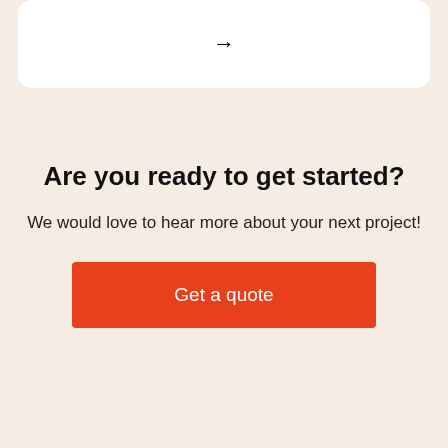[Figure (other): White rounded card with a right-pointing arrow (→) centered inside, partially visible at the top of the page]
Are you ready to get started?
We would love to hear more about your next project!
Get a quote